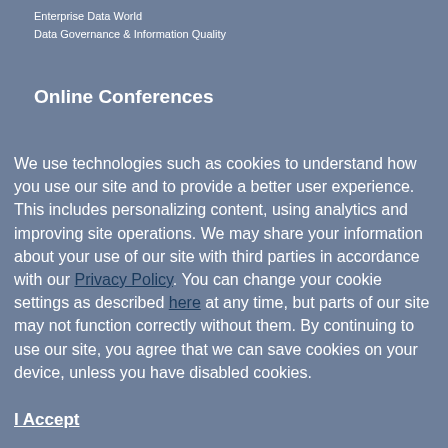Enterprise Data World
Data Governance & Information Quality
Online Conferences
We use technologies such as cookies to understand how you use our site and to provide a better user experience. This includes personalizing content, using analytics and improving site operations. We may share your information about your use of our site with third parties in accordance with our Privacy Policy. You can change your cookie settings as described here at any time, but parts of our site may not function correctly without them. By continuing to use our site, you agree that we can save cookies on your device, unless you have disabled cookies.
I Accept